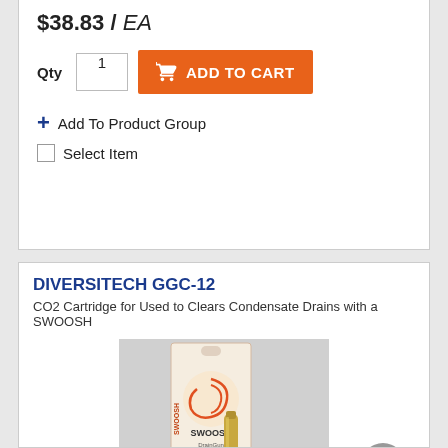$38.83 / EA
Qty 1  ADD TO CART
+ Add To Product Group
Select Item
DIVERSITECH GGC-12
CO2 Cartridge for Used to Clears Condensate Drains with a SWOOSH
[Figure (photo): SWOOSH DrainGun CO2 Refill Cartridge product box with a CO2 cartridge visible, on grey background]